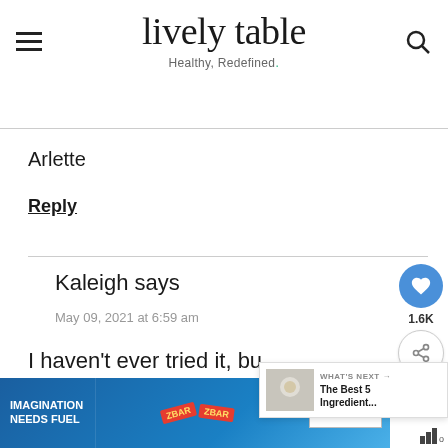lively table — Healthy, Redefined.
Arlette
Reply
Kaleigh says
May 09, 2021 at 6:59 am
I haven't ever tried it, but don't see why it wouldn't
[Figure (screenshot): Social sharing widget with heart/like button (1.6K) and share button]
[Figure (screenshot): WHAT'S NEXT promo box with image and text 'The Best 5 Ingredient...']
[Figure (photo): Advertisement banner: IMAGINATION NEEDS FUEL with ZBAR product images and SHOP NOW button]